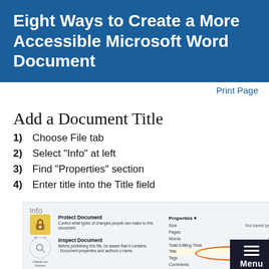Eight Ways to Create a More Accessible Microsoft Word Document
Print Page
Add a Document Title
1) Choose File tab
2) Select "Info" at left
3) Find "Properties" section
4) Enter title into the Title field
[Figure (screenshot): Screenshot of Microsoft Word Info panel showing Protect Document, Inspect Document sections on the left, and Properties panel on the right with Size, Pages, Words, Total Editing Time, Title, Tags, and Comments fields. The Title field row is circled in orange.]